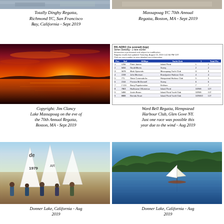[Figure (photo): Partial cropped photo top left - sailing regatta]
[Figure (photo): Partial cropped photo top right - sailing group]
Totally Dinghy Regatta, Richmond YC, San Francisco Bay, California - Sept 2019
Massapoag YC 70th Annual Regatta, Boston, MA - Sept 2019
[Figure (photo): Sunset photo over Lake Massapoag - red/orange sky reflected on water]
[Figure (table-as-image): RS Aero series standings table showing race results]
Copyright: Jim Clancy Lake Massapoag on the eve of the 70th Annual Regatta, Boston, MA - Sept 2019
Ward Bell Regatta, Hempstead Harbour Club, Glen Gove NY. Just one race was possible this year due to the wind - Aug 2019
[Figure (photo): Group of sailors posing in front of boats at Donner Lake, California]
[Figure (photo): Sailboat on Donner Lake with forested hills in background]
Donner Lake, California - Aug 2019
Donner Lake, California - Aug 2019